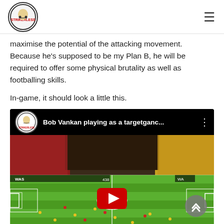Strikerless logo and navigation
maximise the potential of the attacking movement. Because he's supposed to be my Plan B, he will be required to offer some physical brutality as well as footballing skills.
In-game, it should look a little this.
[Figure (screenshot): YouTube video embed showing 'Bob Vankan playing as a targetganc...' with a football/soccer video game screenshot showing a green pitch with players, red stadium seats, and a YouTube play button overlay]